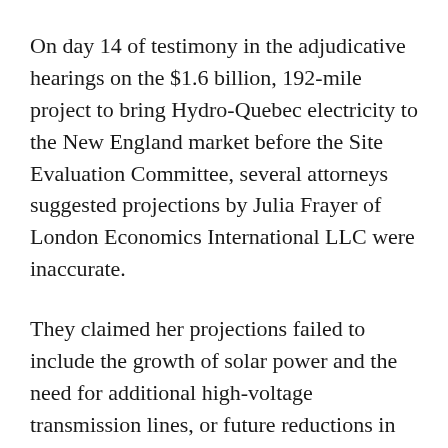On day 14 of testimony in the adjudicative hearings on the $1.6 billion, 192-mile project to bring Hydro-Quebec electricity to the New England market before the Site Evaluation Committee, several attorneys suggested projections by Julia Frayer of London Economics International LLC were inaccurate.
They claimed her projections failed to include the growth of solar power and the need for additional high-voltage transmission lines, or future reductions in greenhouse gas emissions.
At Tuesday’s hearing, Frayer was asked how much an average residential customer using 300 kilowatts of electricity a month would save due to Northern Pass, and she said about $18 a year, or about $1.50 a month.